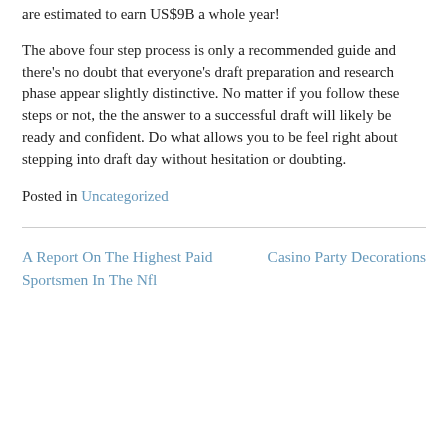are estimated to earn US$9B a whole year!
The above four step process is only a recommended guide and there’s no doubt that everyone’s draft preparation and research phase appear slightly distinctive. No matter if you follow these steps or not, the the answer to a successful draft will likely be ready and confident. Do what allows you to be feel right about stepping into draft day without hesitation or doubting.
Posted in Uncategorized
A Report On The Highest Paid Sportsmen In The Nfl
Casino Party Decorations